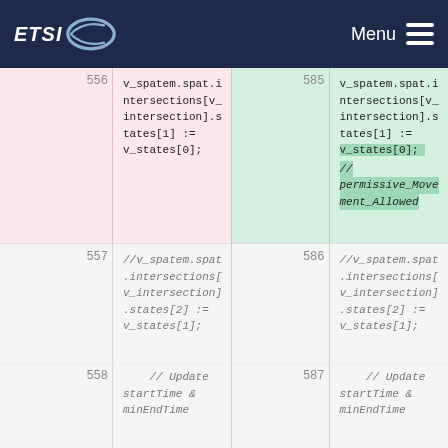ETSI Menu
| line-old | code-old | line-new | code-new |
| --- | --- | --- | --- |
| 556 | v_spatem.spat.intersections[v_intersection].states[1] := v_states[0]; | 585 | v_spatem.spat.intersections[v_intersection].states[1] := v_states[0];
// permissive_Movement_Allowed |
| 557 | //v_spatem.spat.intersections[v_intersection].states[2] := v_states[1]; | 586 | //v_spatem.spat.intersections[v_intersection].states[2] := v_states[1]; |
| 558 | // Update startTime & minEndTime | 587 | // Update startTime & minEndTime |